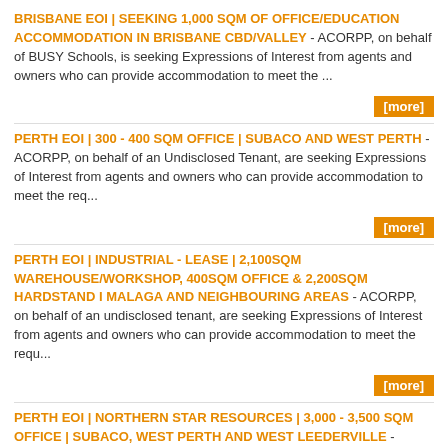BRISBANE EOI | SEEKING 1,000 SQM OF OFFICE/EDUCATION ACCOMMODATION IN BRISBANE CBD/VALLEY - ACORPP, on behalf of BUSY Schools, is seeking Expressions of Interest from agents and owners who can provide accommodation to meet the ...
[more]
PERTH EOI | 300 - 400 SQM OFFICE | SUBACO AND WEST PERTH - ACORPP, on behalf of an Undisclosed Tenant, are seeking Expressions of Interest from agents and owners who can provide accommodation to meet the req...
[more]
PERTH EOI | INDUSTRIAL - LEASE | 2,100SQM WAREHOUSE/WORKSHOP, 400SQM OFFICE & 2,200SQM HARDSTAND I MALAGA AND NEIGHBOURING AREAS - ACORPP, on behalf of an undisclosed tenant, are seeking Expressions of Interest from agents and owners who can provide accommodation to meet the requ...
[more]
PERTH EOI | NORTHERN STAR RESOURCES | 3,000 - 3,500 SQM OFFICE | SUBACO, WEST PERTH AND WEST LEEDERVILLE - ACORPP, on behalf of Northern Star Resources, are seeking Expressions of Interest from agents and owners who can provide accommodation to meet the req...
[more]
PURCHASE I PERTH EOI | OFFICE | 100 - 200 SQM | NORTH OF THE PERTH CBD - ACORPP, on behalf of an undisclosed tenant, are seeking Expressions of Interest from agents and owners who can provide accommodation to meet the requ...